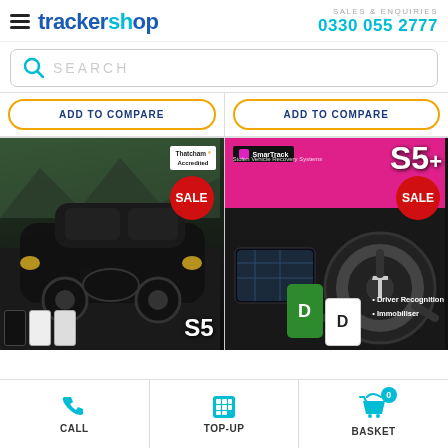trackershop — SALES & ENQUIRIES 0330 055 2777
SEARCH
ADD TO COMPARE
ADD TO COMPARE
[Figure (photo): BMW car with Thatcham Accredited badge and SALE badge, product label S5]
[Figure (photo): Tesla interior steering wheel with SmarTrack S5+ branding, SALE badge, Driver Recognition and Immobiliser bullets]
CALL
TOP-UP
BASKET